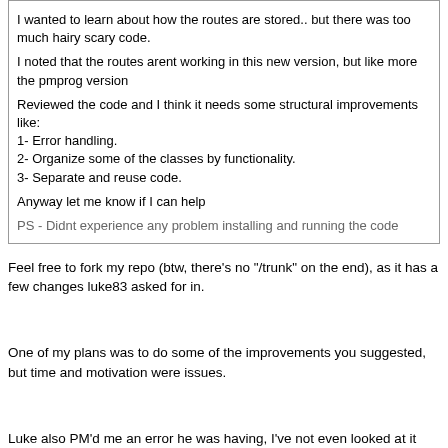I wanted to learn about how the routes are stored.. but there was too much hairy scary code.

I noted that the routes arent working in this new version, but like more the pmprog version

Reviewed the code and I think it needs some structural improvements like:
1- Error handling.
2- Organize some of the classes by functionality.
3- Separate and reuse code.

Anyway let me know if I can help

PS - Didnt experience any problem installing and running the code
Feel free to fork my repo (btw, there's no "/trunk" on the end), as it has a few changes luke83 asked for in.

One of my plans was to do some of the improvements you suggested, but time and motivation were issues.

Luke also PM'd me an error he was having, I've not even looked at it yet, but if it's something you feel like you want a shot at, I (or Luke) can send you on the information
Title: MapView & PckView upgrade - New Version
Post by: TheBigSot on August 04, 2014, 12:08:23 am
Basically
* Fixed some bugs
  * Scrollbar issues
  * Color issues
  * Etc